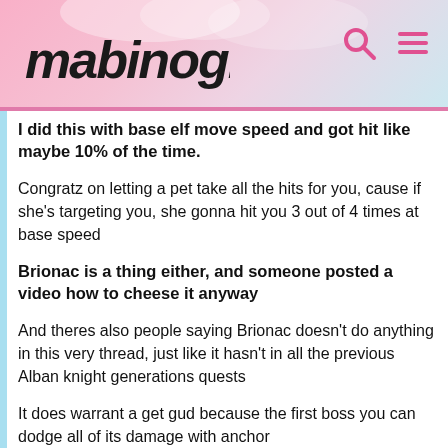mabinogi
I did this with base elf move speed and got hit like maybe 10% of the time.
Congratz on letting a pet take all the hits for you, cause if she's targeting you, she gonna hit you 3 out of 4 times at base speed
Brionac is a thing either, and someone posted a video how to cheese it anyway
And theres also people saying Brionac doesn't do anything in this very thread, just like it hasn't in all the previous Alban knight generations quests
It does warrant a get gud because the first boss you can dodge all of its damage with anchor
Try anchor rush without a mouse, on a touchpad that